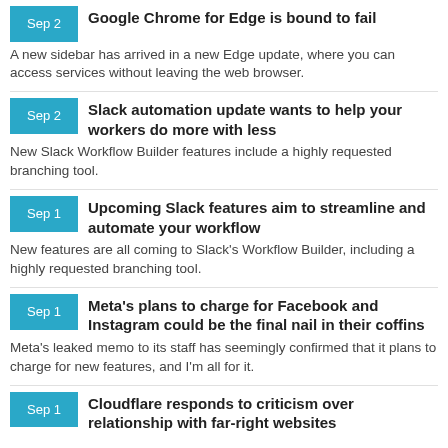Sep 2 | Google Chrome for Edge is bound to fail | A new sidebar has arrived in a new Edge update, where you can access services without leaving the web browser.
Sep 2 | Slack automation update wants to help your workers do more with less | New Slack Workflow Builder features include a highly requested branching tool.
Sep 1 | Upcoming Slack features aim to streamline and automate your workflow | New features are all coming to Slack's Workflow Builder, including a highly requested branching tool.
Sep 1 | Meta's plans to charge for Facebook and Instagram could be the final nail in their coffins | Meta's leaked memo to its staff has seemingly confirmed that it plans to charge for new features, and I'm all for it.
Sep 1 | Cloudflare responds to criticism over relationship with far-right websites